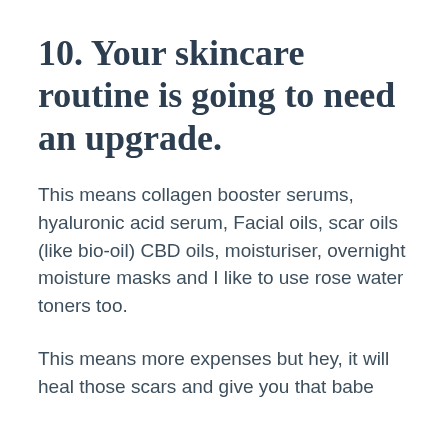10. Your skincare routine is going to need an upgrade.
This means collagen booster serums, hyaluronic acid serum, Facial oils, scar oils (like bio-oil) CBD oils, moisturiser, overnight moisture masks and I like to use rose water toners too.
This means more expenses but hey, it will heal those scars and give you that babe